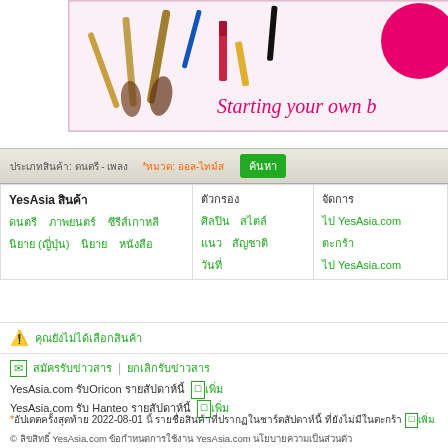[Figure (photo): Banner with makeup brushes and cosmetics. Text reads 'Starting your own b' with a pink circle logo on right. White/pink background.]
ประเภทสินค้า: ดนตรี - เพลง   *หมวด: ออล-ไทม์ส   ค้นหา
| YesAsia สินค้า | ตัวกรอง | จัดการ |
| --- | --- | --- |
| ดนตรี   ภาพยนตร์   ซีรีส์เกาหลี | ศิลปิน   สไตล์ | ไป YesAsia.com |
| นิยาย (ญี่ปุ่น)   นิยาย   หนังสือ | แนว   สัญชาติ | ตะกร้า |
|  | วันที่ | ไป YesAsia.com |
⚠ คุณยังไม่ได้เลือกสินค้า
✉ สมัครรับข่าวสาร | ยกเลิกรับข่าวสาร
YesAsia.com รับOricon รายสัปดาห์นี้  ☐เพิ่ม
YesAsia.com รับ Hanteo รายสัปดาห์นี้  ☐เพิ่ม
*อัปเดตครั้งสุดท้าย 2022-08-01 นี้
รายชื่อสินค้าที่ปรากฏในชาร์ตสัปดาห์นี้
ที่ยังไม่มีในตะกร้า ☐เพิ่ม
© ลิขสิทธิ์ YesAsia.com ข้อกำหนดการใช้งาน YesAsia.com นโยบายความเป็นส่วนตัว